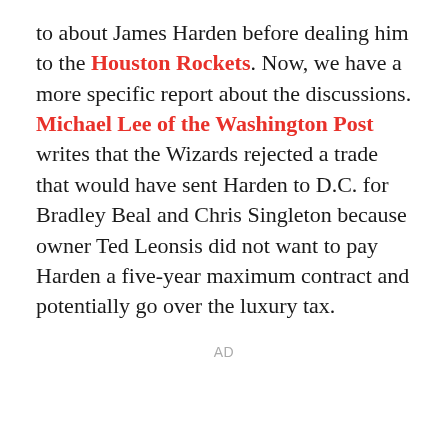to about James Harden before dealing him to the Houston Rockets. Now, we have a more specific report about the discussions. Michael Lee of the Washington Post writes that the Wizards rejected a trade that would have sent Harden to D.C. for Bradley Beal and Chris Singleton because owner Ted Leonsis did not want to pay Harden a five-year maximum contract and potentially go over the luxury tax.
AD